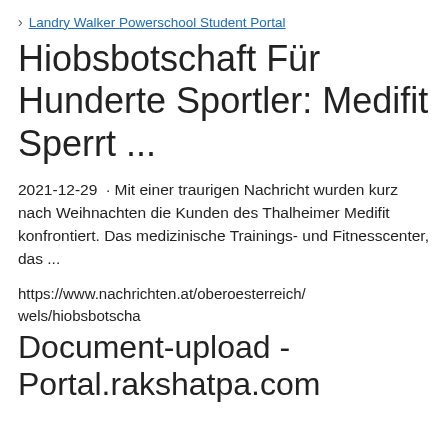Landry Walker Powerschool Student Portal
Hiobsbotschaft Für Hunderte Sportler: Medifit Sperrt ...
2021-12-29  · Mit einer traurigen Nachricht wurden kurz nach Weihnachten die Kunden des Thalheimer Medifit konfrontiert. Das medizinische Trainings- und Fitnesscenter, das ...
https://www.nachrichten.at/oberoesterreich/wels/hiobsbotscha
Document-upload - Portal.rakshatpa.com